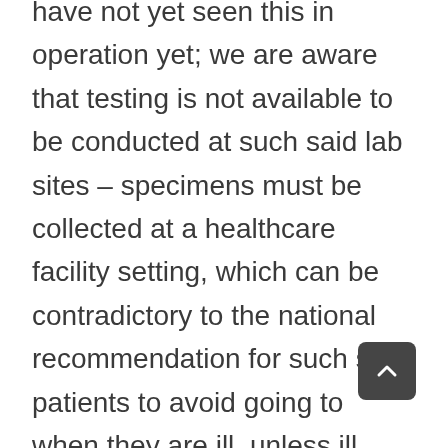have not yet seen this in operation yet; we are aware that testing is not available to be conducted at such said lab sites – specimens must be collected at a healthcare facility setting, which can be contradictory to the national recommendation for such said patients to avoid going to when they are ill, unless ill enough to be seen in an ER setting. We will keep you updated as this testing availability evolves.
-Has Personal Care Physicians considered separating well visits from sick visits at